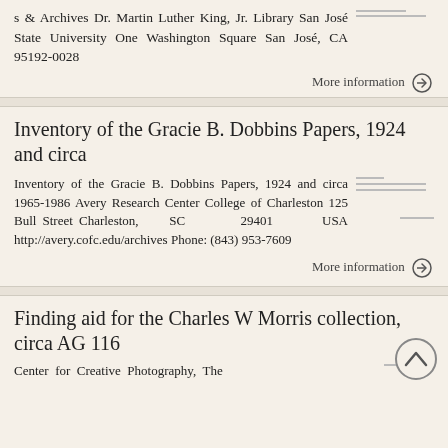s & Archives Dr. Martin Luther King, Jr. Library San José State University One Washington Square San José, CA 95192-0028
More information →
Inventory of the Gracie B. Dobbins Papers, 1924 and circa
Inventory of the Gracie B. Dobbins Papers, 1924 and circa 1965-1986 Avery Research Center College of Charleston 125 Bull Street Charleston, SC 29401 USA http://avery.cofc.edu/archives Phone: (843) 953-7609
More information →
Finding aid for the Charles W Morris collection, circa AG 116
Center for Creative Photography, The